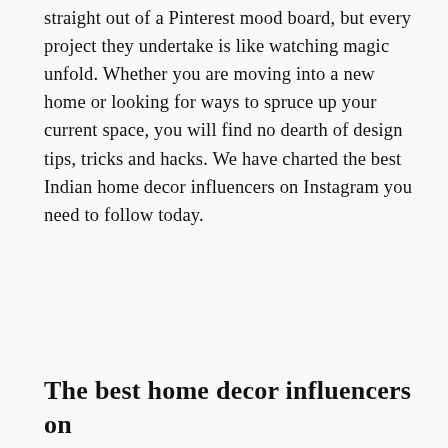straight out of a Pinterest mood board, but every project they undertake is like watching magic unfold. Whether you are moving into a new home or looking for ways to spruce up your current space, you will find no dearth of design tips, tricks and hacks. We have charted the best Indian home decor influencers on Instagram you need to follow today.
The best home decor influencers on